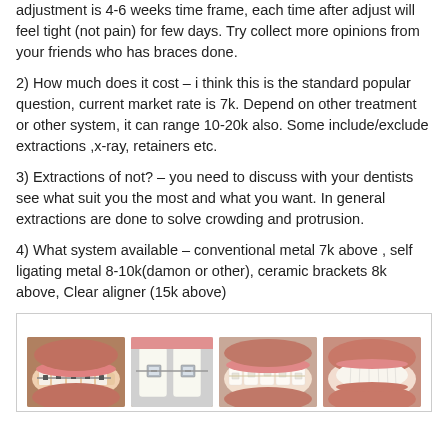adjustment is 4-6 weeks time frame, each time after adjust will feel tight (not pain) for few days. Try collect more opinions from your friends who has braces done.
2) How much does it cost – i think this is the standard popular question, current market rate is 7k. Depend on other treatment or other system, it can range 10-20k also. Some include/exclude extractions ,x-ray, retainers etc.
3) Extractions of not?  – you need to discuss with your dentists see what suit you the most and what you want. In general extractions are done to solve crowding and protrusion.
4) What system available – conventional metal 7k above , self ligating metal 8-10k(damon or other), ceramic brackets 8k above, Clear aligner (15k above)
[Figure (photo): Four dental/braces photos showing different types of braces and teeth aligners: metal braces on teeth, self-ligating metal bracket close-up, ceramic clear braces, and a smile with aligned teeth.]